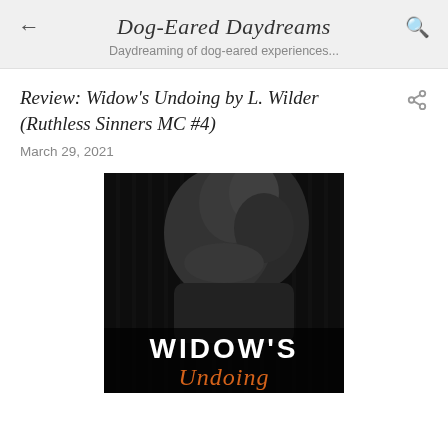Dog-Eared Daydreams
Daydreaming of dog-eared experiences...
Review: Widow's Undoing by L. Wilder (Ruthless Sinners MC #4)
March 29, 2021
[Figure (photo): Book cover of Widow's Undoing showing a bearded man with rings and beaded bracelets holding his hand to his face in black and white photography. The title 'WIDOW'S Undoing' appears at the bottom in white and orange text.]